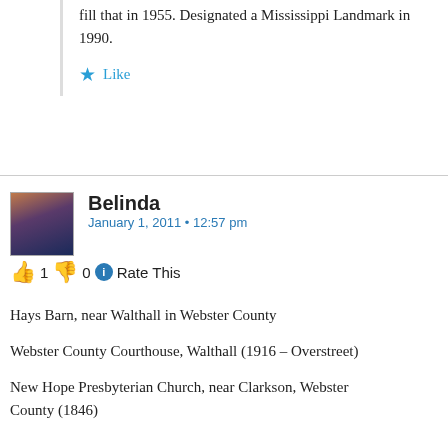fill that in 1955. Designated a Mississippi Landmark in 1990.
Like
Belinda
January 1, 2011 • 12:57 pm
👍 1 👎 0 ℹ Rate This
Hays Barn, near Walthall in Webster County
Webster County Courthouse, Walthall (1916 – Overstreet)
New Hope Presbyterian Church, near Clarkson, Webster County (1846)
former Wells-Lamont factory, Eupora (Overstreet)
Eupora High School (Malvaney, with Overstreet addition)
Like